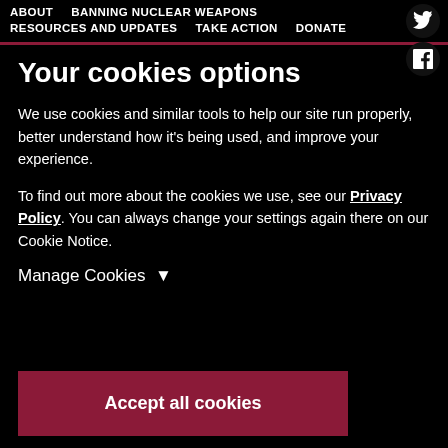ABOUT  BANNING NUCLEAR WEAPONS  RESOURCES AND UPDATES  TAKE ACTION  DONATE
Your cookies options
We use cookies and similar tools to help our site run properly, better understand how it's being used, and improve your experience.
To find out more about the cookies we use, see our Privacy Policy. You can always change your settings again there on our Cookie Notice.
Manage Cookies ▼
Accept all cookies